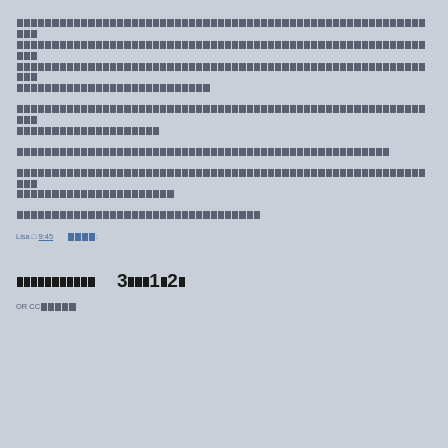[Thai/CJK text block - paragraph 1, multiple lines of placeholder characters]
[Thai/CJK text block - paragraph 2, two lines]
[Thai/CJK text block - paragraph 3, one line]
[Thai/CJK text block - paragraph 4, two lines]
[Thai/CJK text block - paragraph 5, one line]
Lisa □ [underlined: 9:45]     [Thai text]:
[Thai bold text]   3[Thai]1[Thai]2[Thai]
OR CC[Thai text]